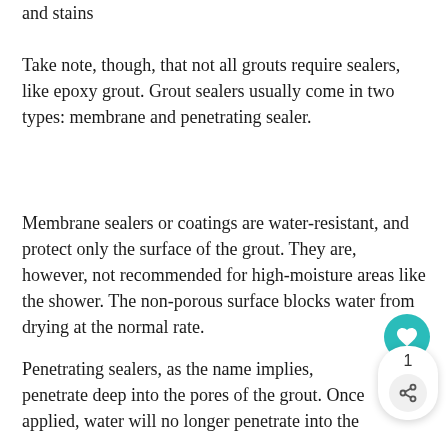and stains
Take note, though, that not all grouts require sealers, like epoxy grout. Grout sealers usually come in two types: membrane and penetrating sealer.
Membrane sealers or coatings are water-resistant, and protect only the surface of the grout. They are, however, not recommended for high-moisture areas like the shower. The non-porous surface blocks water from drying at the normal rate.
Penetrating sealers, as the name implies, penetrate deep into the pores of the grout. Once applied, water will no longer penetrate into the